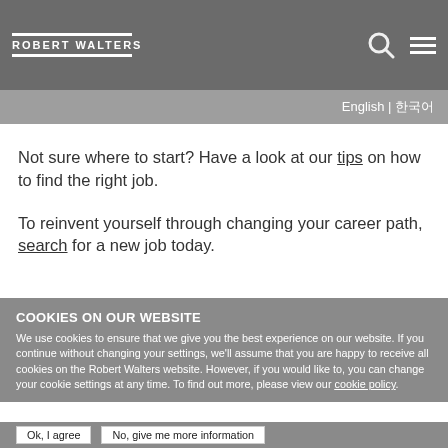ROBERT WALTERS | English | 한국어
Not sure where to start? Have a look at our tips on how to find the right job.
To reinvent yourself through changing your career path, search for a new job today.
COOKIES ON OUR WEBSITE
We use cookies to ensure that we give you the best experience on our website. If you continue without changing your settings, we'll assume that you are happy to receive all cookies on the Robert Walters website. However, if you would like to, you can change your cookie settings at any time. To find out more, please view our cookie policy.
Ok, I agree | No, give me more information